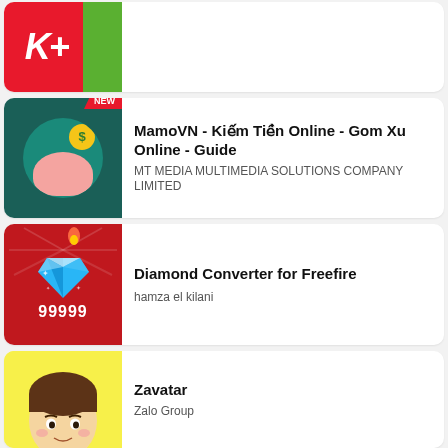[Figure (screenshot): K+ app icon (partial, top-cropped): red background with white K+ logo and green stripe on right]
[Figure (screenshot): MamoVN app icon: dark teal background with piggy bank and coin graphic, NEW badge in top-right corner]
MamoVN - Kiếm Tiền Online - Gom Xu Online - Guide
MT MEDIA MULTIMEDIA SOLUTIONS COMPANY LIMITED
[Figure (screenshot): Diamond Converter for Freefire app icon: dark red background with blue diamond gem and 99999 text]
Diamond Converter for Freefire
hamza el kilani
[Figure (screenshot): Zavatar app icon: yellow background with cartoon avatar character (partial, bottom-cropped)]
Zavatar
Zalo Group